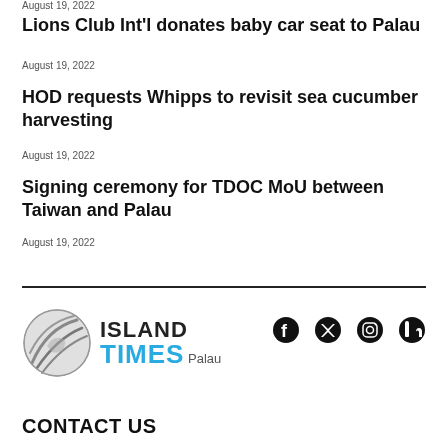August 19, 2022
Lions Club Int'l donates baby car seat to Palau
August 19, 2022
HOD requests Whipps to revisit sea cucumber harvesting
August 19, 2022
Signing ceremony for TDOC MoU between Taiwan and Palau
August 19, 2022
[Figure (logo): Island Times Palau logo with globe graphic, ISLAND in black bold, TIMES in blue bold, Palau in small gray text, and social media icons for Facebook, Twitter, Instagram, LinkedIn]
CONTACT US